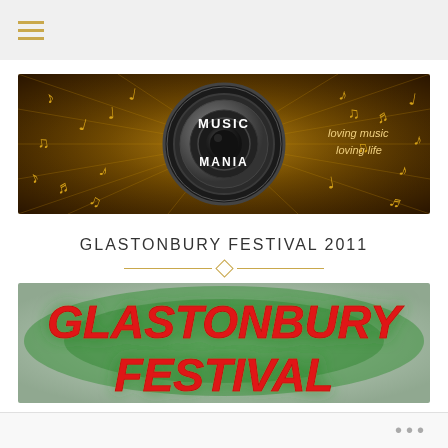[Figure (logo): Music Mania banner with speaker graphic, golden music notes on dark brown background, text 'MUSIC MANIA loving music loving life']
GLASTONBURY FESTIVAL 2011
[Figure (photo): Glastonbury Festival text logo with large red italic text on green-glowing background]